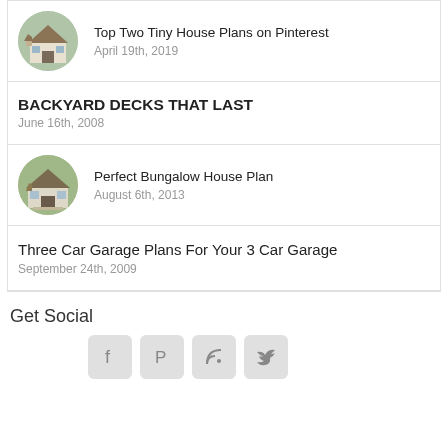Top Two Tiny House Plans on Pinterest
April 19th, 2019
BACKYARD DECKS THAT LAST
June 16th, 2008
Perfect Bungalow House Plan
August 6th, 2013
Three Car Garage Plans For Your 3 Car Garage
September 24th, 2009
Get Social
[Figure (other): Social media icons: Facebook, Pinterest, RSS, Twitter]